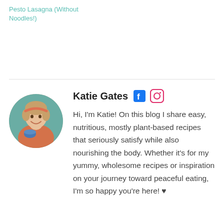Pesto Lasagna (Without Noodles!)
[Figure (photo): Circular portrait photo of Katie Gates, a smiling woman in a pink/salmon sweater holding a blue bowl, with a teal/green background]
Katie Gates
Hi, I'm Katie! On this blog I share easy, nutritious, mostly plant-based recipes that seriously satisfy while also nourishing the body. Whether it's for my yummy, wholesome recipes or inspiration on your journey toward peaceful eating, I'm so happy you're here! ♥